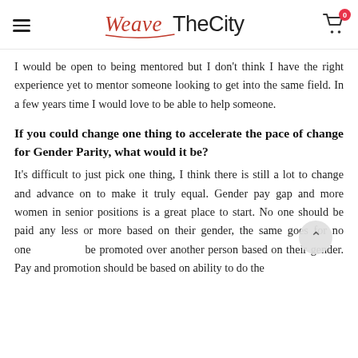WeaveTheCity
I would be open to being mentored but I don't think I have the right experience yet to mentor someone looking to get into the same field. In a few years time I would love to be able to help someone.
If you could change one thing to accelerate the pace of change for Gender Parity, what would it be?
It's difficult to just pick one thing, I think there is still a lot to change and advance on to make it truly equal. Gender pay gap and more women in senior positions is a great place to start. No one should be paid any less or more based on their gender, the same goes for no one be promoted over another person based on their gender. Pay and promotion should be based on ability to do the